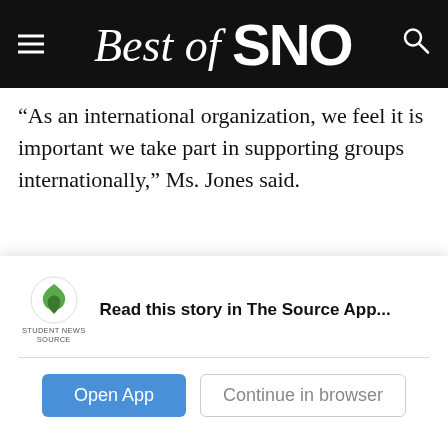Best of SNO
“As an international organization, we feel it is important we take part in supporting groups internationally,” Ms. Jones said.
Keeping Gelila’s dream alive was a way of keeping
Read this story in The Source App...
Open App
Continue in browser